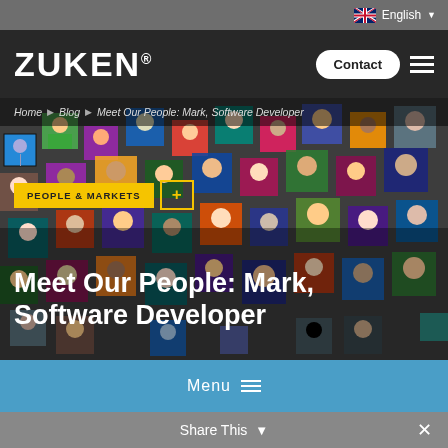English ▼
[Figure (logo): Zuken logo in white text on dark background with Contact button and hamburger menu]
[Figure (illustration): Collage of colorful illustrated avatar tiles/portraits of diverse people on dark background, forming the hero image]
Home ▶ Blog ▶ Meet Our People: Mark, Software Developer
PEOPLE & MARKETS +
Meet Our People: Mark, Software Developer
Menu ≡
Share This ∨  ✕